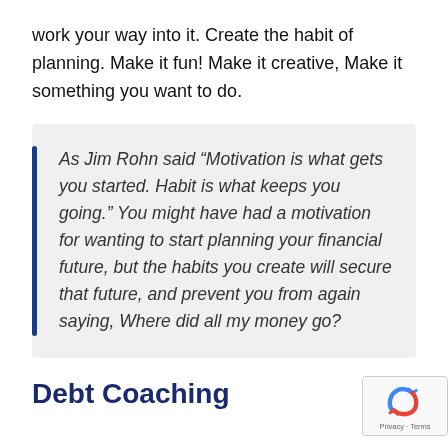work your way into it. Create the habit of planning. Make it fun! Make it creative, Make it something you want to do.
As Jim Rohn said “Motivation is what gets you started. Habit is what keeps you going.” You might have had a motivation for wanting to start planning your financial future, but the habits you create will secure that future, and prevent you from again saying, Where did all my money go?
Debt Coaching